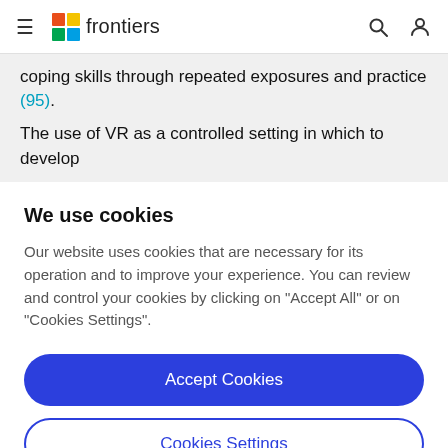frontiers
coping skills through repeated exposures and practice (95).
The use of VR as a controlled setting in which to develop
We use cookies
Our website uses cookies that are necessary for its operation and to improve your experience. You can review and control your cookies by clicking on "Accept All" or on "Cookies Settings".
Accept Cookies
Cookies Settings